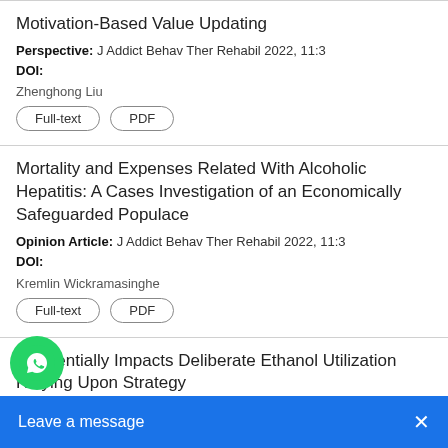Motivation-Based Value Updating
Perspective: J Addict Behav Ther Rehabil 2022, 11:3
DOI:
Zhenghong Liu
Mortality and Expenses Related With Alcoholic Hepatitis: A Cases Investigation of an Economically Safeguarded Populace
Opinion Article: J Addict Behav Ther Rehabil 2022, 11:3
DOI:
Kremlin Wickramasinghe
Differentially Impacts Deliberate Ethanol Utilization Relying Upon Strategy
Opinion Article: J Addict Behav Ther Rehabil 2022, 11:3
Phillip R. Zoladz